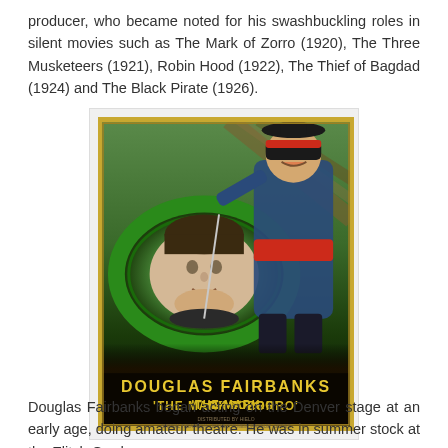producer, who became noted for his swashbuckling roles in silent movies such as The Mark of Zorro (1920), The Three Musketeers (1921), Robin Hood (1922), The Thief of Bagdad (1924) and The Black Pirate (1926).
[Figure (photo): Movie poster for 'The Mark of Zorro' featuring Douglas Fairbanks. Shows a masked Zorro figure in blue costume with red sash standing behind a large green oval frame containing a portrait of Douglas Fairbanks. Yellow text at the bottom reads 'DOUGLAS FAIRBANKS' and 'THE MARK OF ZORRO'.]
Douglas Fairbanks began acting on the Denver stage at an early age, doing amateur theatre. He was in summer stock at the Elitch Gardens